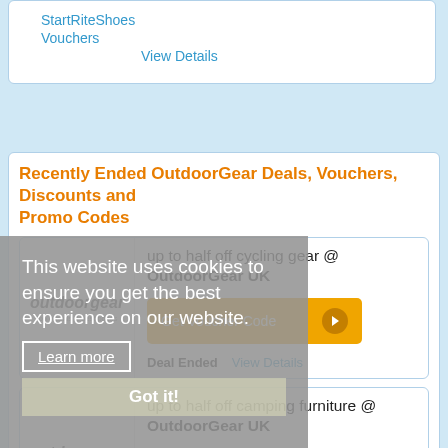StartRiteShoes Vouchers
View Details
Recently Ended OutdoorGear Deals, Vouchers, Discounts and Promo Codes
[Figure (logo): outdoorgear logo - top brands & best prices]
up to half off cycling gear @ OutdoorGear UK
Get Voucher Code
Deal Ended
View Details
[Figure (logo): outdoorgear logo - top brands & best prices]
up to half off camping furniture @ OutdoorGear UK
Get Voucher Code
Deal Ended
View Details
This website uses cookies to ensure you get the best experience on our website.
Learn more
Got it!